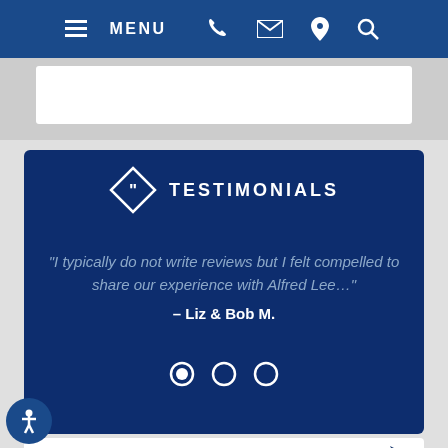MENU
[Figure (screenshot): Website navigation bar with hamburger menu, phone, email, location, and search icons on dark blue background]
TESTIMONIALS
"I typically do not write reviews but I felt compelled to share our experience with Alfred Lee..."
– Liz & Bob M.
VIEW MORE TESTIMONIALS